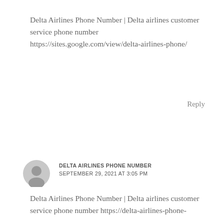Delta Airlines Phone Number | Delta airlines customer service phone number https://sites.google.com/view/delta-airlines-phone/
Reply
[Figure (illustration): Generic user avatar icon — grey silhouette of a person on a light grey circle]
DELTA AIRLINES PHONE NUMBER
SEPTEMBER 29, 2021 AT 3:05 PM
Delta Airlines Phone Number | Delta airlines customer service phone number https://delta-airlines-phone-